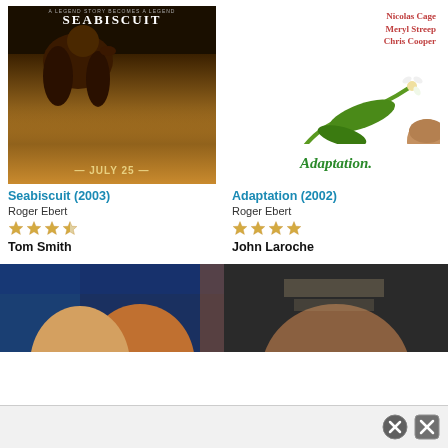[Figure (photo): Movie poster for Seabiscuit (2003) showing horse racing with dust flying, text SEABISCUIT at top and JULY 25 at bottom]
[Figure (photo): Movie poster for Adaptation (2002) showing plant with flowers, Nicolas Cage Meryl Streep Chris Cooper listed at top, large green text Adaptation. at bottom]
Seabiscuit (2003)
Adaptation (2002)
Roger Ebert
Roger Ebert
★★★½
★★★★
Tom Smith
John Laroche
[Figure (photo): Partial movie poster showing two male faces, blue and orange tones]
[Figure (photo): Partial movie poster showing close-up of a man's face in dark tones]